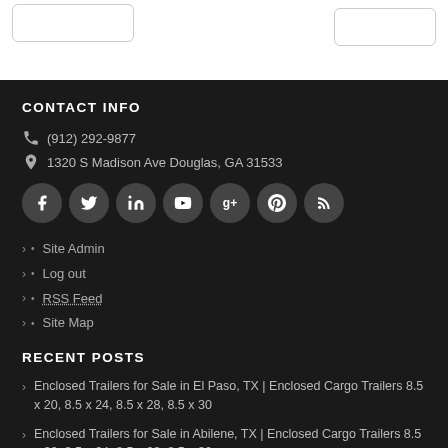CONTACT INFO
(912) 292-9877
1320 S Madison Ave Douglas, GA 31533
[Figure (other): Social media icon buttons: Facebook, Twitter, LinkedIn, YouTube, Google+, Pinterest, RSS]
Site Admin
Log out
RSS Feed
Site Map
RECENT POSTS
Enclosed Trailers for Sale in El Paso, TX | Enclosed Cargo Trailers 8.5 x 20, 8.5 x 24, 8.5 x 28, 8.5 x 30
Enclosed Trailers for Sale in Abilene, TX | Enclosed Cargo Trailers 8.5 x 20, 8.5 x 24, 8.5 x 28, 8.5 x 30